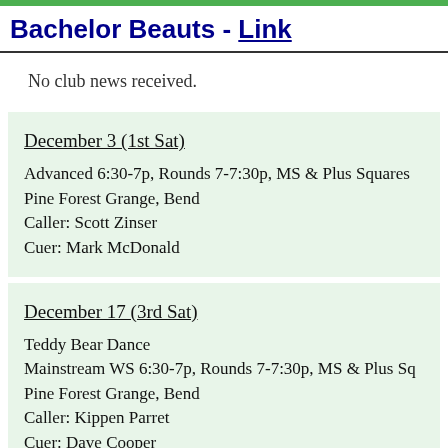Bachelor Beauts - Link
No club news received.
December 3 (1st Sat)
Advanced 6:30-7p, Rounds 7-7:30p, MS & Plus Squares
Pine Forest Grange, Bend
Caller: Scott Zinser
Cuer: Mark McDonald
December 17 (3rd Sat)
Teddy Bear Dance
Mainstream WS 6:30-7p, Rounds 7-7:30p, MS & Plus Sq
Pine Forest Grange, Bend
Caller: Kippen Parret
Cuer: Dave Cooper